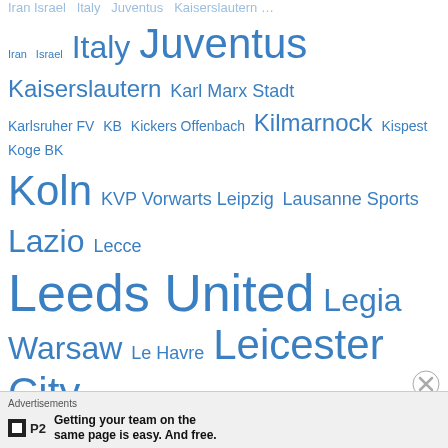[Figure (infographic): Tag cloud of football/soccer club names and countries in blue, varying font sizes indicating frequency. Terms include: Iran, Israel, Italy, Juventus, Kaiserslautern, Karl Marx Stadt, Karlsruher FV, KB, Kickers Offenbach, Kilmarnock, Kispest, Koge BK, Koln, KVP Vorwarts Leipzig, Lausanne Sports, Lazio, Lecce, Leeds United, Legia Warsaw, Le Havre, Leicester City, Lille, Lillestrom, Limburgia SV, Linfield, Lira, Liverpool, Livorno, Lokeren, Lokomotive Leipzig, Los Angeles Aztecs, Luton Town, Lyn Oslo, Lyon, Madrid FC, Magdeburg, Malmo FF, Manchester City, Manchester United, Mansfield Town, Marseille, Mechelen, Metz, Mexico]
Advertisements
Getting your team on the same page is easy. And free.